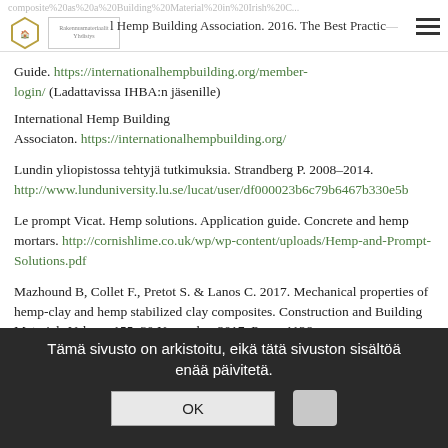composite%20as%20a%20Building%20Material%20in%20Irish%20C... l Hemp Building Association. 2016. The Best Practice Guide. https://internationalhempbuilding.org/member-login/ (Ladattavissa IHBA:n jäsenille)
International Hemp Building Associaton. https://internationalhempbuilding.org/
Lundin yliopistossa tehtyjä tutkimuksia. Strandberg P. 2008–2014. http://www.lunduniversity.lu.se/lucat/user/df000023b6c79b6467b330e5b
Le prompt Vicat. Hemp solutions. Application guide. Concrete and hemp mortars. http://cornishlime.co.uk/wp/wp-content/uploads/Hemp-and-Prompt-Solutions.pdf
Mazhound B, Collet F., Pretot S. & Lanos C. 2017. Mechanical properties of hemp-clay and hemp stabilized clay composites. Construction and Building Materials Volume 155, 30 November 2017, Pages 1126–
Tämä sivusto on arkistoitu, eikä tätä sivuston sisältöä enää päivitetä. OK